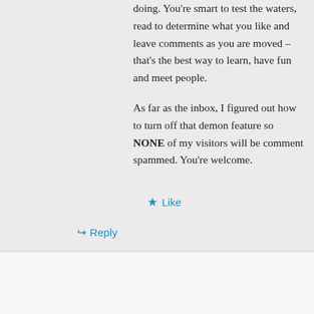doing. You're smart to test the waters, read to determine what you like and leave comments as you are moved – that's the best way to learn, have fun and meet people.

As far as the inbox, I figured out how to turn off that demon feature so NONE of my visitors will be comment spammed. You're welcome.
★ Like
↳ Reply
Advertisements